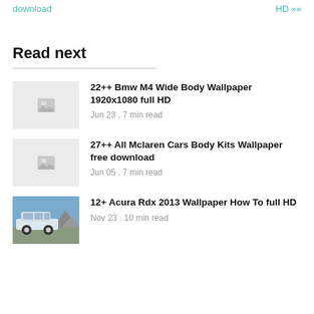download  |  HD »»
Read next
22++ Bmw M4 Wide Body Wallpaper 1920x1080 full HD
Jun 23 . 7 min read
27++ All Mclaren Cars Body Kits Wallpaper free download
Jun 05 . 7 min read
12+ Acura Rdx 2013 Wallpaper How To full HD
Nov 23 . 10 min read